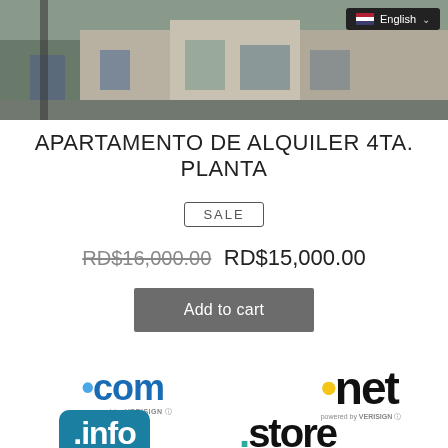[Figure (photo): Photograph of building exterior with English language selector badge in top right]
APARTAMENTO DE ALQUILER 4TA. PLANTA
SALE
RD$16,000.00  RD$15,000.00
Add to cart
[Figure (logo): .com powered by VERISIGN logo]
[Figure (logo): .net powered by VERISIGN logo]
[Figure (logo): .info domain logo]
[Figure (logo): .store domain logo]